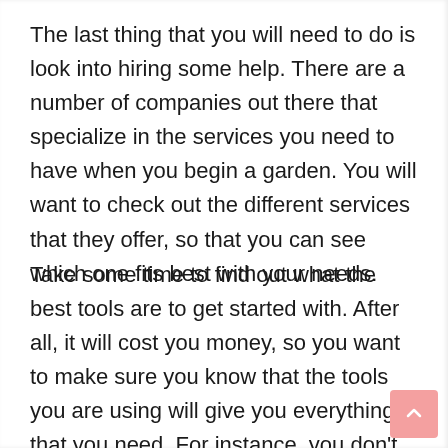The last thing that you will need to do is look into hiring some help. There are a number of companies out there that specialize in the services you need to have when you begin a garden. You will want to check out the different services that they offer, so that you can see which one fits best with your needs.
Take some time to find out what the best tools are to get started with. After all, it will cost you money, so you want to make sure you know that the tools you are using will give you everything that you need. For instance, you don't want to go out and buy some cheap tools that are only going to break on you or that are useless at the end of the season. With these